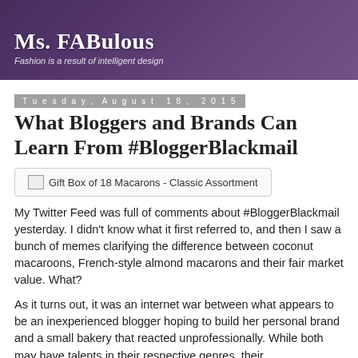[Figure (photo): Ms. FABulous blog header banner with colorful spools/buttons in the background and blog title text overlay]
Ms. FABulous
Fashion is a result of intelligent design
Tuesday, August 18, 2015
What Bloggers and Brands Can Learn From #BloggerBlackmail
[Figure (photo): Gift Box of 18 Macarons - Classic Assortment (broken image placeholder)]
My Twitter Feed was full of comments about #BloggerBlackmail yesterday. I didn't know what it first referred to, and then I saw a bunch of memes clarifying the difference between coconut macaroons, French-style almond macarons and their fair market value. What?
As it turns out, it was an internet war between what appears to be an inexperienced blogger hoping to build her personal brand and a small bakery that reacted unprofessionally. While both may have talents in their respective genres, their